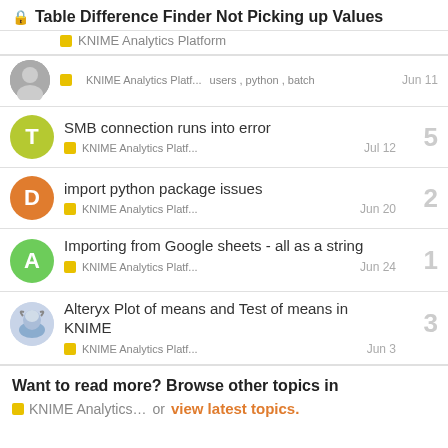Table Difference Finder Not Picking up Values
KNIME Analytics Platform
KNIME Analytics Platf...  users, python, batch  Jun 11
SMB connection runs into error  KNIME Analytics Platf...  Jul 12  5
import python package issues  KNIME Analytics Platf...  Jun 20  2
Importing from Google sheets - all as a string  KNIME Analytics Platf...  Jun 24  1
Alteryx Plot of means and Test of means in KNIME  KNIME Analytics Platf...  Jun 3  3
Want to read more? Browse other topics in KNIME Analytics... or view latest topics.